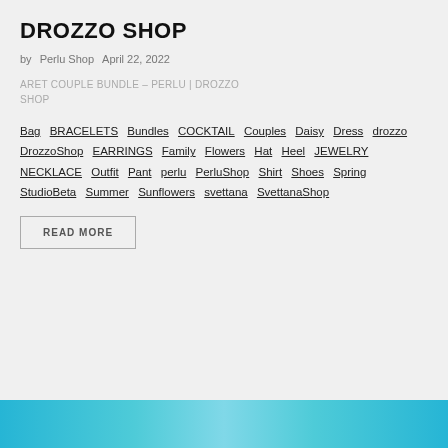DROZZO SHOP
by Perlu Shop   April 22, 2022
ARET COUPLE BUNDLE – PERLU | DROZZO SHOP
Bag  BRACELETS  Bundles  COCKTAIL  Couples  Daisy  Dress  drozzo  DrozzoShop  EARRINGS  Family  Flowers  Hat  Heel  JEWELRY  NECKLACE  Outfit  Pant  perlu  PerluShop  Shirt  Shoes  Spring  StudioBeta  Summer  Sunflowers  svettana  SvettanaShop
READ MORE
[Figure (photo): Bottom cropped photo strip with blue/teal background showing partial figures]